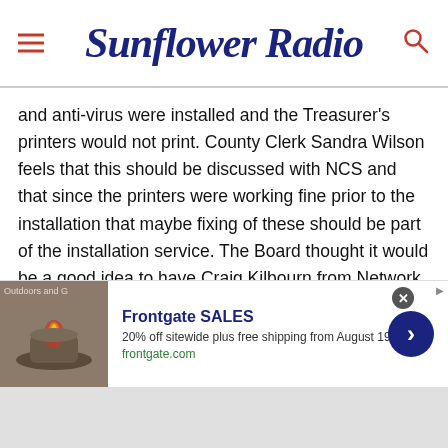Sunflower Radio
and anti-virus were installed and the Treasurer's printers would not print. County Clerk Sandra Wilson feels that this should be discussed with NCS and that since the printers were working fine prior to the installation that maybe fixing of these should be part of the installation service. The Board thought it would be a good idea to have Craig Kilbourn from Network Computer Services come to the next Board meeting to discuss this and talk about the moving forward of Phase 2 and the timeline.
[Figure (infographic): Advertisement banner for Frontgate SALES showing outdoor furniture/fire pit image on the left, bold blue text 'Frontgate SALES', subtitle '20% off sitewide plus free shipping from August 19-22', domain 'frontgate.com', and a blue circular arrow button on the right.]